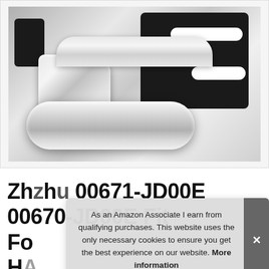[Figure (photo): Close-up photo of a chrome car door handle with black plastic mounting bracket on a light grey/white background. The handle is highly polished silver/chrome finish.]
Zhuzhu 00671-JD00E 00670-JD00E Fit Ford... HA... HANDLE SET, CHROME Color (Right
As an Amazon Associate I earn from qualifying purchases. This website uses the only necessary cookies to ensure you get the best experience on our website. More information